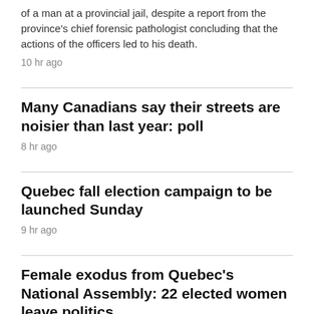of a man at a provincial jail, despite a report from the province's chief forensic pathologist concluding that the actions of the officers led to his death.
10 hr ago
Many Canadians say their streets are noisier than last year: poll
8 hr ago
Quebec fall election campaign to be launched Sunday
9 hr ago
Female exodus from Quebec's National Assembly: 22 elected women leave politics